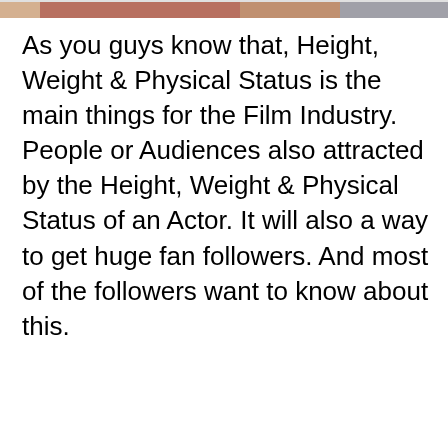[Figure (photo): Partial view of a photo at the top of the page showing people, cropped with warm tones visible]
As you guys know that, Height, Weight & Physical Status is the main things for the Film Industry. People or Audiences also attracted by the Height, Weight & Physical Status of an Actor. It will also a way to get huge fan followers. And most of the followers want to know about this.